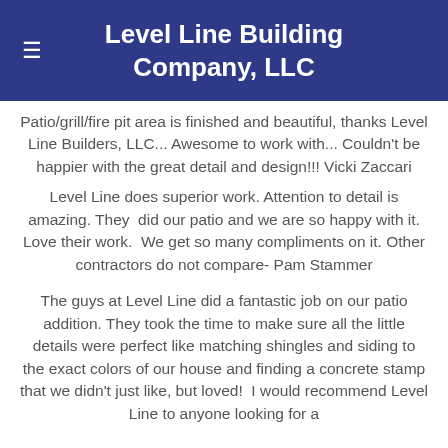Level Line Building Company, LLC
Patio/grill/fire pit area is finished and beautiful, thanks Level Line Builders, LLC... Awesome to work with... Couldn't be happier with the great detail and design!!! Vicki Zaccari
Level Line does superior work. Attention to detail is amazing. They  did our patio and we are so happy with it. Love their work.  We get so many compliments on it.  Other contractors do not compare- Pam Stammer
The guys at Level Line did a fantastic job on our patio addition. They took the time to make sure all the little details were perfect like matching shingles and siding to the exact colors of our house and finding a concrete stamp that we didn't just like, but loved!  I would recommend Level Line to anyone looking for a